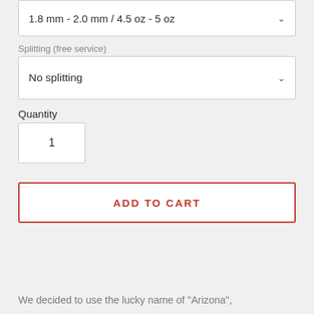1.8 mm - 2.0 mm / 4.5 oz - 5 oz
Splitting (free service)
No splitting
Quantity
1
ADD TO CART
We decided to use the lucky name of "Arizona",